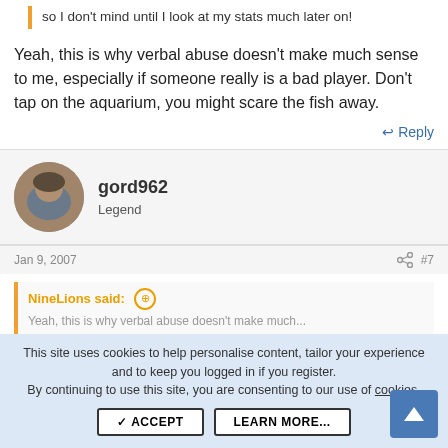so I don't mind until I look at my stats much later on!
Yeah, this is why verbal abuse doesn't make much sense to me, especially if someone really is a bad player. Don't tap on the aquarium, you might scare the fish away.
↩ Reply
gord962
Legend
Jan 9, 2007   #7
NineLions said: ⊕
This site uses cookies to help personalise content, tailor your experience and to keep you logged in if you register.
By continuing to use this site, you are consenting to our use of cookies.
✓ ACCEPT   LEARN MORE...